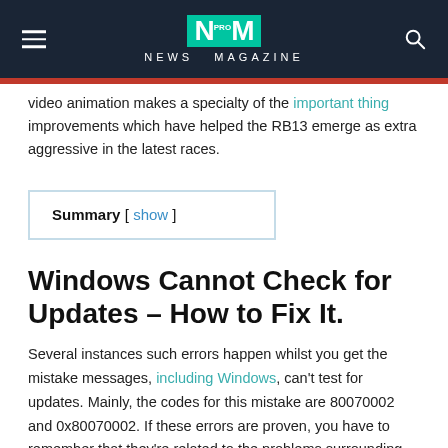NM PRO NEWS MAGAZINE
video animation makes a specialty of the important thing improvements which have helped the RB13 emerge as extra aggressive in the latest races.
Summary [ show ]
Windows Cannot Check for Updates – How to Fix It.
Several instances such errors happen whilst you get the mistake messages, including Windows, can't test for updates. Mainly, the codes for this mistake are 80070002 and 0x80070002. If these errors are proven, you have to remember that they're related to the problems surrounding your windows replaced. Especially in